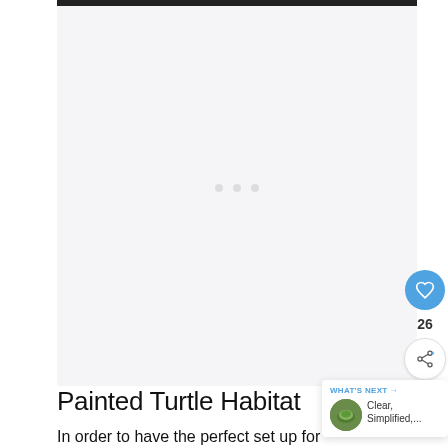[Figure (other): Large blank/white content area representing an embedded video or image placeholder with a thin dark top border and light gray background. Three small dots visible in the center area suggesting a loading indicator.]
[Figure (other): UI overlay showing a blue circular heart/like button, a like count of 26, and a share button with a share icon.]
Painted Turtle Habitat
In order to have the perfect set up for
[Figure (other): "What's Next" overlay widget in bottom-right corner showing a circular turtle thumbnail image and text reading 'Clear, Simplified,...']